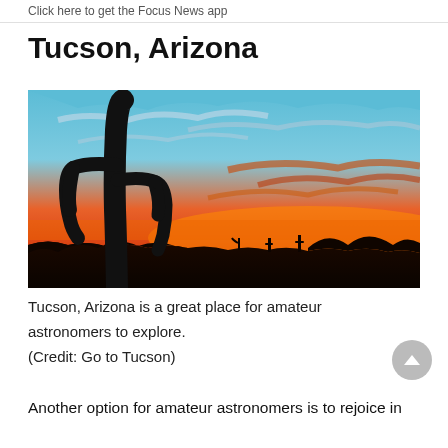Click here to get the Focus News app
Tucson, Arizona
[Figure (photo): A dramatic desert sunset with a tall saguaro cactus silhouette in the foreground against a vivid orange, red, and blue sky with wispy clouds. Desert mountain silhouettes along the horizon.]
Tucson, Arizona is a great place for amateur astronomers to explore.
(Credit: Go to Tucson)
Another option for amateur astronomers is to rejoice in